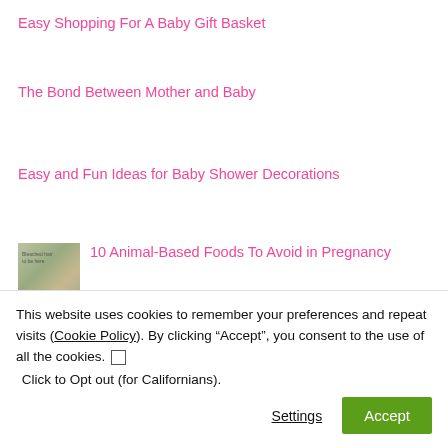Easy Shopping For A Baby Gift Basket
The Bond Between Mother and Baby
Easy and Fun Ideas for Baby Shower Decorations
10 Animal-Based Foods To Avoid in Pregnancy
This website uses cookies to remember your preferences and repeat visits (Cookie Policy). By clicking “Accept”, you consent to the use of all the cookies. ☐ Click to Opt out (for Californians).
Settings
Accept